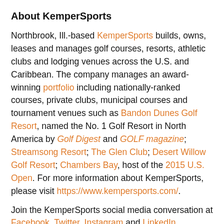About KemperSports
Northbrook, Ill.-based KemperSports builds, owns, leases and manages golf courses, resorts, athletic clubs and lodging venues across the U.S. and Caribbean. The company manages an award-winning portfolio including nationally-ranked courses, private clubs, municipal courses and tournament venues such as Bandon Dunes Golf Resort, named the No. 1 Golf Resort in North America by Golf Digest and GOLF magazine; Streamsong Resort; The Glen Club; Desert Willow Golf Resort; Chambers Bay, host of the 2015 U.S. Open. For more information about KemperSports, please visit https://www.kempersports.com/.
Join the KemperSports social media conversation at Facebook, Twitter, Instagram and LinkedIn.
Media Contact:
Taryn Parker